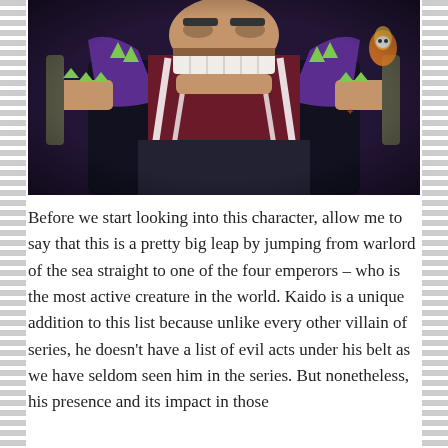[Figure (illustration): Anime illustration of a large muscular character (Kaido from One Piece) shown from the torso up, wearing a purple cloak and dark outfit with white rope-like decorations across the chest. The character has large teeth visible, is holding weapons, and has spiked accessories. Dark and dramatic color palette.]
Before we start looking into this character, allow me to say that this is a pretty big leap by jumping from warlord of the sea straight to one of the four emperors – who is the most active creature in the world. Kaido is a unique addition to this list because unlike every other villain of series, he doesn't have a list of evil acts under his belt as we have seldom seen him in the series. But nonetheless, his presence and its impact in those